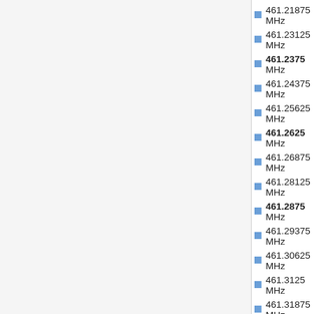461.21875 MHz
461.23125 MHz
461.2375 MHz
461.24375 MHz
461.25625 MHz
461.2625 MHz
461.26875 MHz
461.28125 MHz
461.2875 MHz
461.29375 MHz
461.30625 MHz
461.3125 MHz
461.31875 MHz
461.33125 MHz
461.3375 MHz
461.34375 MHz
461.35625 MHz
461.3625 MHz
461.36875 MHz
462.7625 MHz
462.7875 MHz
462.8125 MHz